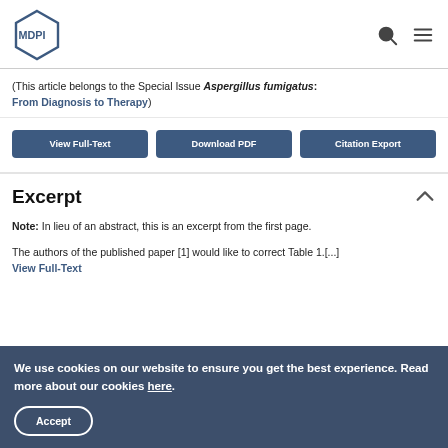MDPI
(This article belongs to the Special Issue Aspergillus fumigatus: From Diagnosis to Therapy)
View Full-Text | Download PDF | Citation Export
Excerpt
Note: In lieu of an abstract, this is an excerpt from the first page.
The authors of the published paper [1] would like to correct Table 1.[...] View Full-Text
We use cookies on our website to ensure you get the best experience. Read more about our cookies here. Accept